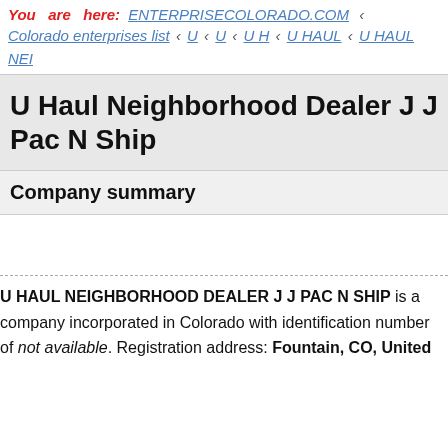You are here: ENTERPRISECOLORADO.COM ‹ Colorado enterprises list ‹ U ‹ U ‹ U H ‹ U HAUL ‹ U HAUL NEI
U Haul Neighborhood Dealer J J Pac N Ship
Company summary
U HAUL NEIGHBORHOOD DEALER J J PAC N SHIP is a company incorporated in Colorado with identification number of not available. Registration address: Fountain, CO, United